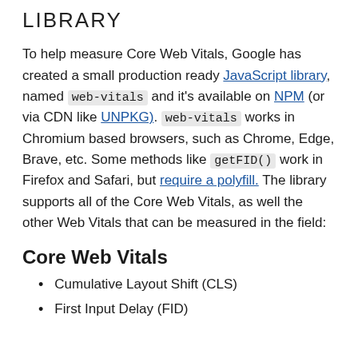LIBRARY
To help measure Core Web Vitals, Google has created a small production ready JavaScript library, named web-vitals and it's available on NPM (or via CDN like UNPKG). web-vitals works in Chromium based browsers, such as Chrome, Edge, Brave, etc. Some methods like getFID() work in Firefox and Safari, but require a polyfill. The library supports all of the Core Web Vitals, as well the other Web Vitals that can be measured in the field:
Core Web Vitals
Cumulative Layout Shift (CLS)
First Input Delay (FID)